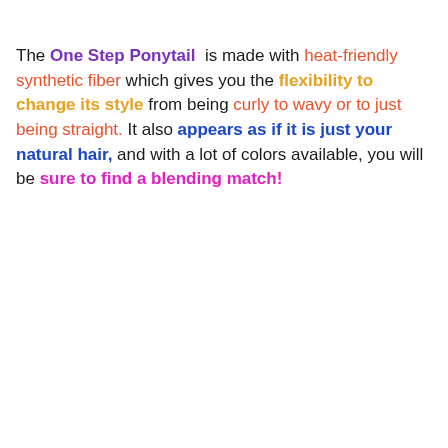The One Step Ponytail is made with heat-friendly synthetic fiber which gives you the flexibility to change its style from being curly to wavy or to just being straight. It also appears as if it is just your natural hair, and with a lot of colors available, you will be sure to find a blending match!